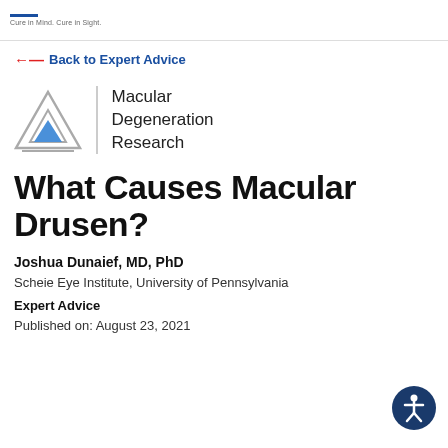Cure in Mind. Cure in Sight.
← Back to Expert Advice
[Figure (logo): Macular Degeneration Research organization logo with triangle icon and vertical divider]
What Causes Macular Drusen?
Joshua Dunaief, MD, PhD
Scheie Eye Institute, University of Pennsylvania
Expert Advice
Published on: August 23, 2021